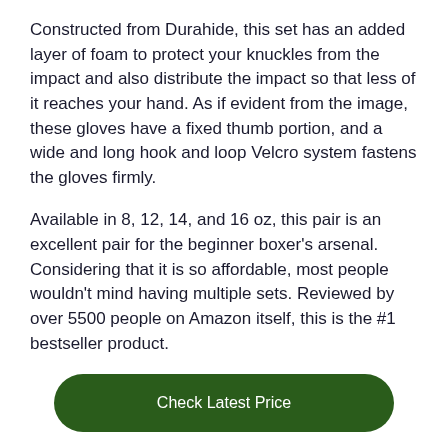Constructed from Durahide, this set has an added layer of foam to protect your knuckles from the impact and also distribute the impact so that less of it reaches your hand. As if evident from the image, these gloves have a fixed thumb portion, and a wide and long hook and loop Velcro system fastens the gloves firmly.
Available in 8, 12, 14, and 16 oz, this pair is an excellent pair for the beginner boxer's arsenal. Considering that it is so affordable, most people wouldn't mind having multiple sets. Reviewed by over 5500 people on Amazon itself, this is the #1 bestseller product.
Check Latest Price
See also: Best Boxing Gloves for Heavy Bag
#4 RDX Boxing Gloves for Training & Muay Thai